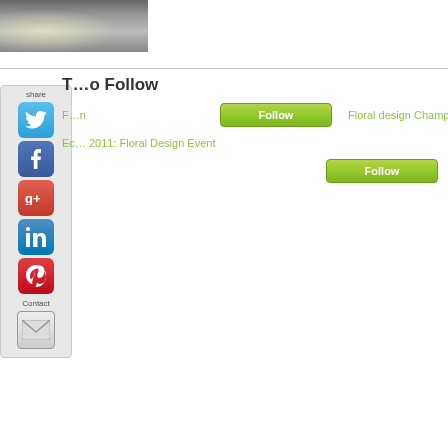[Figure (photo): Partial photo of floral/decorative arrangement at top left]
T...o Follow
F...n
Follow
Floral design Championsh...
Ec... 2011: Floral Design Event
Follow
[Figure (infographic): Social share sidebar with Twitter, Facebook, Google+, LinkedIn, Pinterest icons and Contact/email button]